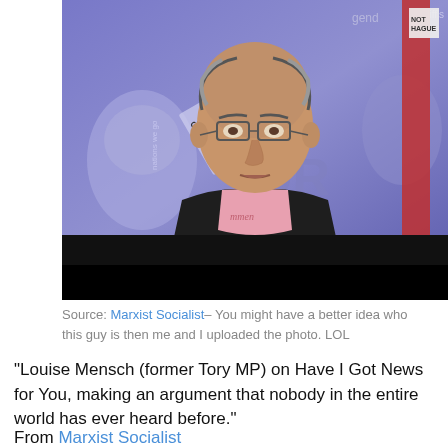[Figure (photo): A middle-aged bald man with glasses wearing a black jacket over a pink t-shirt, seated on a TV panel show set with a purple/blue illustrated backdrop showing faces and text including 'Greek tragedy is now French farce'. A red vertical bar is visible on the right side of the set.]
Source: Marxist Socialist– You might have a better idea who this guy is then me and I uploaded the photo. LOL
“Louise Mensch (former Tory MP) on Have I Got News for You, making an argument that nobody in the entire world has ever heard before.”
From Marxist Socialist